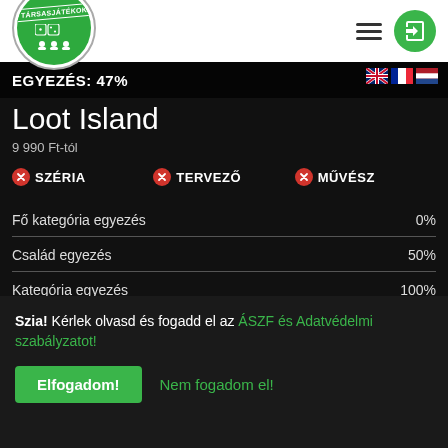TÁRSASJÁTÉKOK
EGYEZÉS: 47%
Loot Island
9 990 Ft-tól
SZÉRIA
TERVEZŐ
MŰVÉSZ
| Kategória | Egyezés |
| --- | --- |
| Fő kategória egyezés | 0% |
| Család egyezés | 50% |
| Kategória egyezés | 100% |
| Mechanizmus egyezés | 0% |
Szia! Kérlek olvasd és fogadd el az ÁSZF és Adatvédelmi szabályzatot!
Elfogadom!
Nem fogadom el!